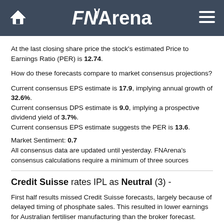FNArena
At the last closing share price the stock's estimated Price to Earnings Ratio (PER) is 12.74.
How do these forecasts compare to market consensus projections?
Current consensus EPS estimate is 17.9, implying annual growth of 32.6%. Current consensus DPS estimate is 9.0, implying a prospective dividend yield of 3.7%. Current consensus EPS estimate suggests the PER is 13.6.
Market Sentiment: 0.7
All consensus data are updated until yesterday. FNArena's consensus calculations require a minimum of three sources
Credit Suisse rates IPL as Neutral (3) -
First half results missed Credit Suisse forecasts, largely because of delayed timing of phosphate sales. This resulted in lower earnings for Australian fertiliser manufacturing than the broker forecast.